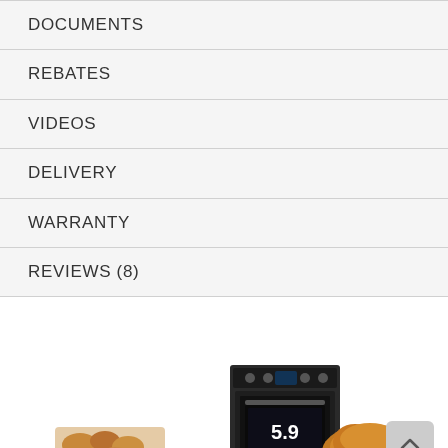DOCUMENTS
REBATES
VIDEOS
DELIVERY
WARRANTY
REVIEWS (8)
[Figure (photo): Product image of a Samsung electric range (5.9 cu ft) shown with food items including pastries on the left and a roasted turkey/chicken on the right]